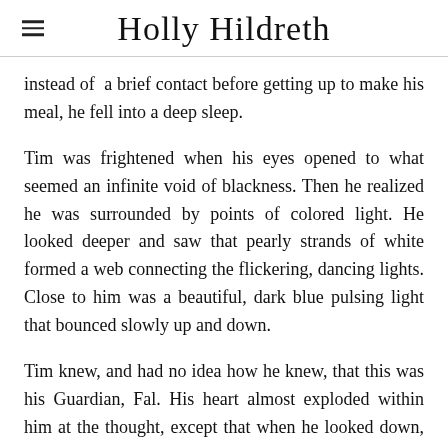Holly Hildreth
instead of a brief contact before getting up to make his meal, he fell into a deep sleep.
Tim was frightened when his eyes opened to what seemed an infinite void of blackness. Then he realized he was surrounded by points of colored light. He looked deeper and saw that pearly strands of white formed a web connecting the flickering, dancing lights. Close to him was a beautiful, dark blue pulsing light that bounced slowly up and down.
Tim knew, and had no idea how he knew, that this was his Guardian, Fal. His heart almost exploded within him at the thought, except that when he looked down, he realized that he too was just light, a sparkling aqua blue. His light